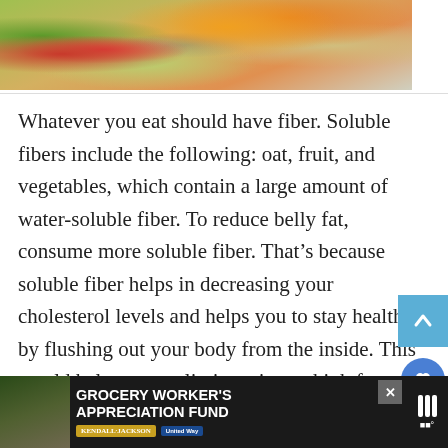[Figure (photo): Photo of various healthy foods including vegetables, fruits, nuts, seeds, and an orange slice arranged on a white background]
Whatever you eat should have fiber. Soluble fibers include the following: oat, fruit, and vegetables, which contain a large amount of water-soluble fiber. To reduce belly fat, consume more soluble fiber. That’s because soluble fiber helps in decreasing your cholesterol levels and helps you to stay healthy by flushing out your body from the inside. This would help you to eliminate inner thigh fat as well.
[Figure (screenshot): Advertisement banner for Grocery Worker's Appreciation Fund featuring Kendall-Jackson and United Way logos]